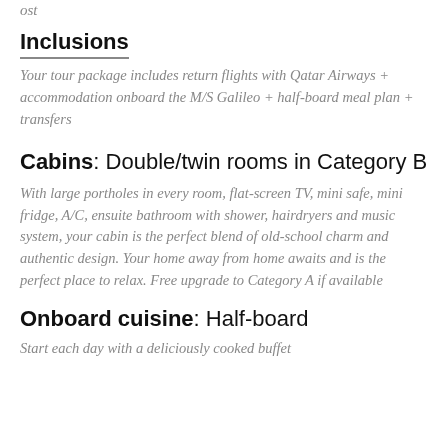ost
Inclusions
Your tour package includes return flights with Qatar Airways + accommodation onboard the M/S Galileo + half-board meal plan + transfers
Cabins: Double/twin rooms in Category B
With large portholes in every room, flat-screen TV, mini safe, mini fridge, A/C, ensuite bathroom with shower, hairdryers and music system, your cabin is the perfect blend of old-school charm and authentic design. Your home away from home awaits and is the perfect place to relax. Free upgrade to Category A if available
Onboard cuisine: Half-board
Start each day with a deliciously cooked buffet